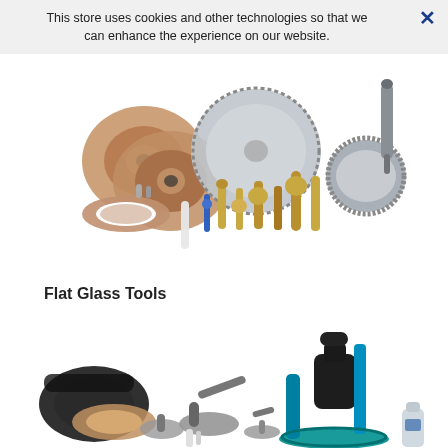This store uses cookies and other technologies so that we can enhance the experience on our website.
[Figure (photo): Collection of glass working tools including abrasive grinding wheels, diamond saw blades, spindle tools, brass fittings, and bevel grinding wheels arranged in a group shot on white background.]
Flat Glass Tools
[Figure (photo): Flat glass tools including belt sander, suction cup handlers, hand grinder/polisher tools, and a blue vertical drill/router machine with circular base, plus a bottle of lubricant.]